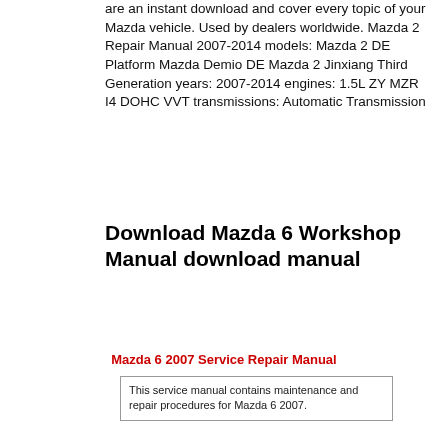are an instant download and cover every topic of your Mazda vehicle. Used by dealers worldwide. Mazda 2 Repair Manual 2007-2014 models: Mazda 2 DE Platform Mazda Demio DE Mazda 2 Jinxiang Third Generation years: 2007-2014 engines: 1.5L ZY MZR I4 DOHC VVT transmissions: Automatic Transmission
Download Mazda 6 Workshop Manual download manual
Mazda 6 2007 Service Repair Manual
This service manual contains maintenance and repair procedures for Mazda 6 2007.